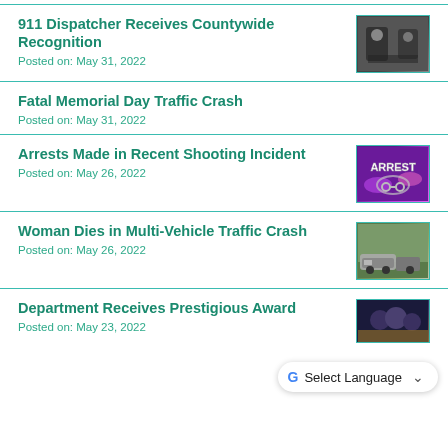911 Dispatcher Receives Countywide Recognition
Posted on: May 31, 2022
[Figure (photo): Photo of two people standing together, likely law enforcement or dispatch staff]
Fatal Memorial Day Traffic Crash
Posted on: May 31, 2022
Arrests Made in Recent Shooting Incident
Posted on: May 26, 2022
[Figure (photo): Purple/blue image with the word ARREST and handcuffs]
Woman Dies in Multi-Vehicle Traffic Crash
Posted on: May 26, 2022
[Figure (photo): Photo of a crashed vehicle at a road scene]
Department Receives Prestigious Award
Posted on: May 23, 2022
[Figure (photo): Partial photo of people at an award ceremony]
Select Language